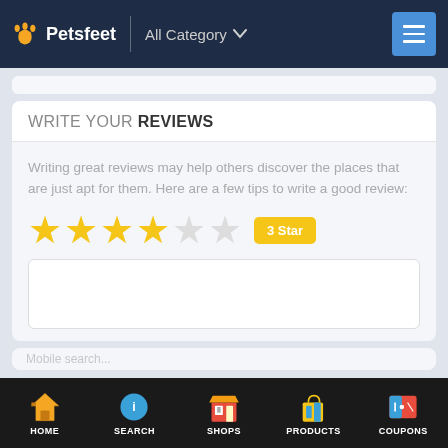Petsfeet | All Category
WRITE YOUR REVIEWS
Writing great reviews may help others discover the places that are just apt for them. Here are a few tips to write a good review:
[Figure (other): Star rating widget showing 4 filled stars and 2 empty stars, with a yellow badge label '3 Star']
HOME | SEARCH | SHOPS | PRODUCTS | COUPONS